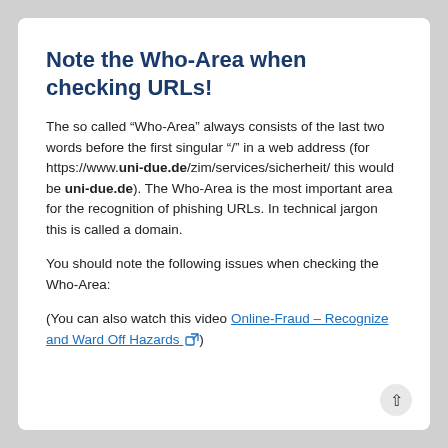Note the Who-Area when checking URLs!
The so called “Who-Area” always consists of the last two words before the first singular “/” in a web address (for https://www.uni-due.de/zim/services/sicherheit/ this would be uni-due.de). The Who-Area is the most important area for the recognition of phishing URLs. In technical jargon this is called a domain.
You should note the following issues when checking the Who-Area:
(You can also watch this video Online-Fraud – Recognize and Ward Off Hazards [external link])